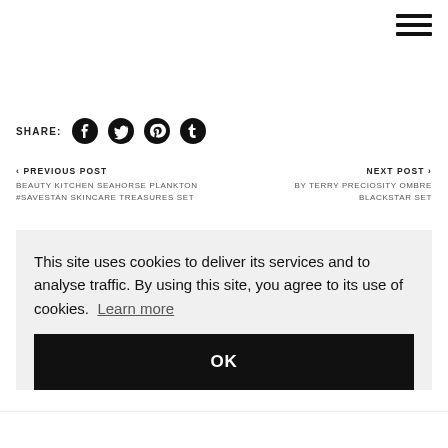[Figure (other): Hamburger menu icon (three horizontal bars) in top-right corner]
SHARE: [Facebook] [Twitter] [Pinterest] [Tumblr]
< PREVIOUS POST
BEAUTY KITCHEN SEAHORSE PLANKTON #SAVESTAN SKINCARE TREASURES SET
NEXT POST >
BY TERRY PRECIOSITY OMBRE BLACKSTAR SET
This site uses cookies to deliver its services and to analyse traffic. By using this site, you agree to its use of cookies. Learn more
OK